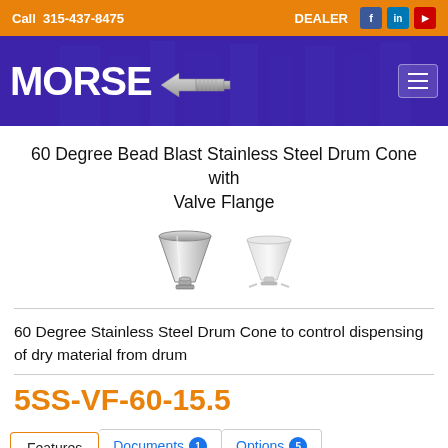Call 315-437-8475   DEALER
[Figure (logo): MORSE company logo with stylized fitting icon on dark blue/purple banner background]
60 Degree Bead Blast Stainless Steel Drum Cone with Valve Flange
[Figure (photo): Two product images of a stainless steel drum cone with valve flange — one detailed view and one lighter view]
60 Degree Stainless Steel Drum Cone to control dispensing of dry material from drum
5SS-VF-60-15.5
Features    Documents 1    Options 5